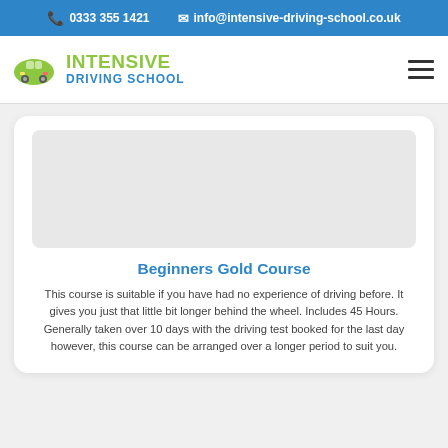0333 355 1421   info@intensive-driving-school.co.uk
[Figure (logo): Intensive Driving School logo with green car icon and text 'INTENSIVE DRIVING SCHOOL']
[Figure (photo): Image placeholder area within card]
Beginners Gold Course
This course is suitable if you have had no experience of driving before. It gives you just that little bit longer behind the wheel. Includes 45 Hours. Generally taken over 10 days with the driving test booked for the last day however, this course can be arranged over a longer period to suit you.